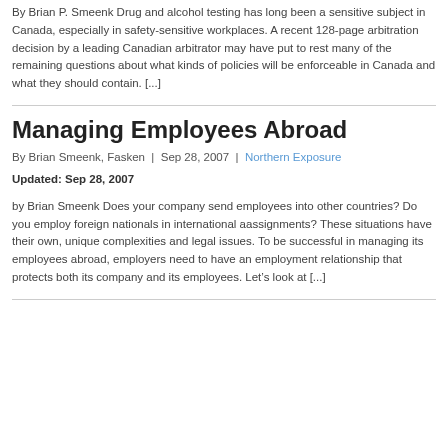By Brian P. Smeenk Drug and alcohol testing has long been a sensitive subject in Canada, especially in safety-sensitive workplaces. A recent 128-page arbitration decision by a leading Canadian arbitrator may have put to rest many of the remaining questions about what kinds of policies will be enforceable in Canada and what they should contain. [...]
Managing Employees Abroad
By Brian Smeenk, Fasken | Sep 28, 2007 | Northern Exposure
Updated: Sep 28, 2007
by Brian Smeenk Does your company send employees into other countries? Do you employ foreign nationals in international aassignments? These situations have their own, unique complexities and legal issues. To be successful in managing its employees abroad, employers need to have an employment relationship that protects both its company and its employees. Let’s look at [...]